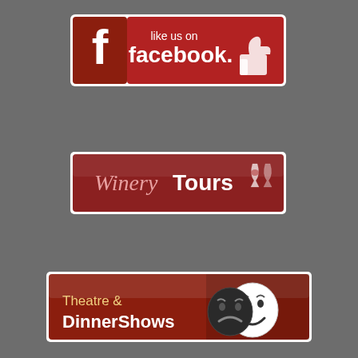[Figure (logo): Facebook 'like us on facebook' banner with red background, white Facebook 'f' logo on darker red left panel, 'like us on' text and 'facebook.' in white bold, thumbs-up icon on right]
[Figure (logo): Winery Tours banner with dark red background, 'Winery' in italic pinkish text and 'Tours' in white bold, wine glasses icon on right]
[Figure (logo): Theatre & DinnerShows banner with dark red background, 'Theatre &' in yellowish text and 'DinnerShows' in white bold on left, theatre comedy/tragedy masks illustration on right]